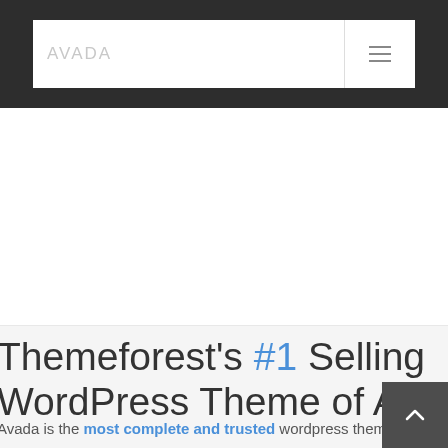Avada | navigation bar with logo and hamburger menu
Themeforest's #1 Selling WordPress Theme of All Time
Avada is the most complete and trusted wordpress theme